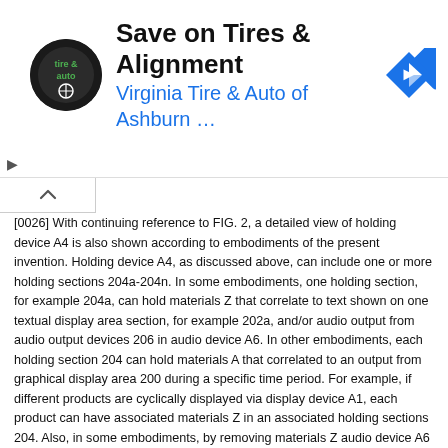[Figure (screenshot): Advertisement banner for Virginia Tire & Auto of Ashburn with logo, title 'Save on Tires & Alignment', subtitle 'Virginia Tire & Auto of Ashburn ...', and a blue diamond navigation icon. Ad controls (triangle and X) on left side.]
[0026] With continuing reference to FIG. 2, a detailed view of holding device A4 is also shown according to embodiments of the present invention. Holding device A4, as discussed above, can include one or more holding sections 204a-204n. In some embodiments, one holding section, for example 204a, can hold materials Z that correlate to text shown on one textual display area section, for example 202a, and/or audio output from audio output devices 206 in audio device A6. In other embodiments, each holding section 204 can hold materials A that correlated to an output from graphical display area 200 during a specific time period. For example, if different products are cyclically displayed via display device A1, each product can have associated materials Z in an associated holding sections 204. Also, in some embodiments, by removing materials Z audio device A6 is activated and outputs an audio signal correlating to the removed materials Z. The audio signal can be a sound clip correlating to information on the removed materials Z.
[0027] Referring again to FIG. 1, in some embodiments of the present invention, reading device A2 can be a smart tag reader that reads smart